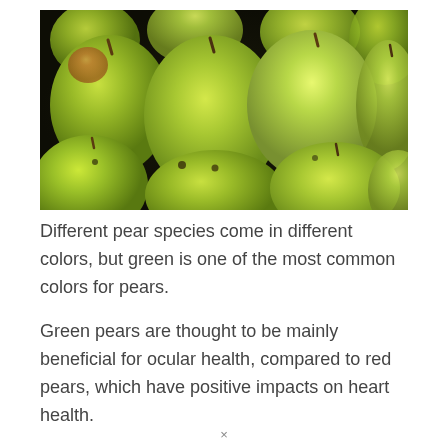[Figure (photo): A close-up photograph of many green pears piled together, filling the frame. The pears are various shades of yellow-green, with some having slight reddish tinges. Some have visible stems.]
Different pear species come in different colors, but green is one of the most common colors for pears.
Green pears are thought to be mainly beneficial for ocular health, compared to red pears, which have positive impacts on heart health.
×